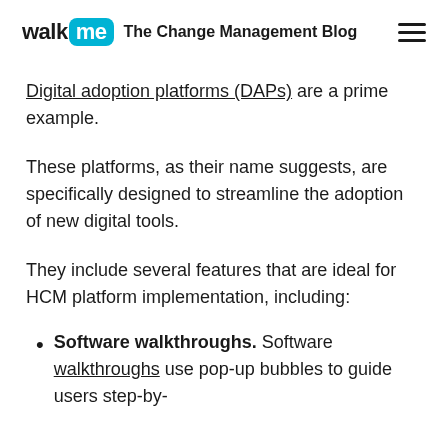walk me The Change Management Blog
Digital adoption platforms (DAPs) are a prime example.
These platforms, as their name suggests, are specifically designed to streamline the adoption of new digital tools.
They include several features that are ideal for HCM platform implementation, including:
Software walkthroughs. Software walkthroughs use pop-up bubbles to guide users step-by-